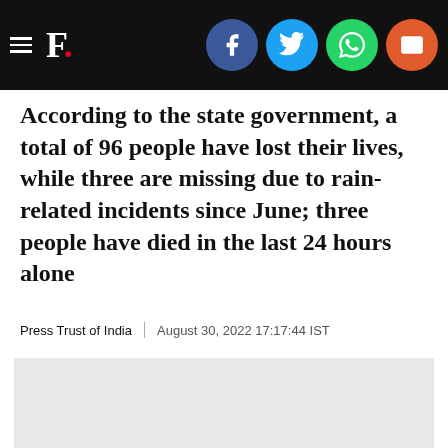F. [Firstpost logo] with social share icons (Facebook, Twitter, WhatsApp, Email)
According to the state government, a total of 96 people have lost their lives, while three are missing due to rain-related incidents since June; three people have died in the last 24 hours alone
Press Trust of India | August 30, 2022 17:17:44 IST
[Figure (logo): Firstpost brand logo on light grey background — black serif text 'Firstpost' with a red dot period]
Representational image. Twitter/ @navin_ankampali